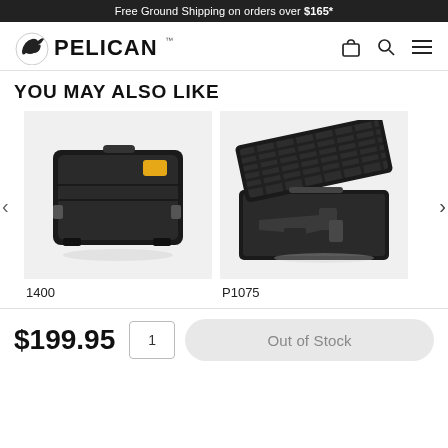Free Ground Shipping on orders over $165*
[Figure (logo): Pelican brand logo with pelican bird icon and PELICAN wordmark]
YOU MAY ALSO LIKE
[Figure (photo): Pelican 1400 black hard case, closed view]
1400
[Figure (photo): Pelican P1075 open pistol case with foam lining and handgun cutout]
P1075
$199.95
1
Out of Stock